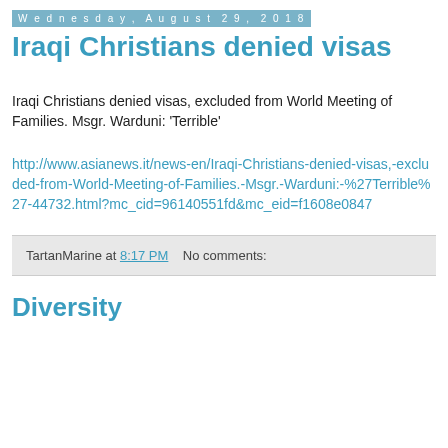Wednesday, August 29, 2018
Iraqi Christians denied visas
Iraqi Christians denied visas, excluded from World Meeting of Families. Msgr. Warduni: 'Terrible'
http://www.asianews.it/news-en/Iraqi-Christians-denied-visas,-excluded-from-World-Meeting-of-Families.-Msgr.-Warduni:-%27Terrible%27-44732.html?mc_cid=96140551fd&mc_eid=f1608e0847
TartanMarine at 8:17 PM   No comments:
Diversity